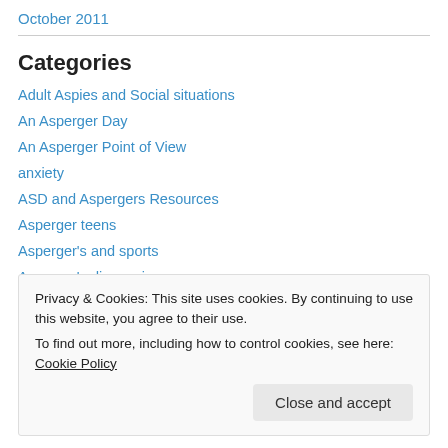October 2011
Categories
Adult Aspies and Social situations
An Asperger Day
An Asperger Point of View
anxiety
ASD and Aspergers Resources
Asperger teens
Asperger's and sports
Asperger's diagnosis
Privacy & Cookies: This site uses cookies. By continuing to use this website, you agree to their use. To find out more, including how to control cookies, see here: Cookie Policy